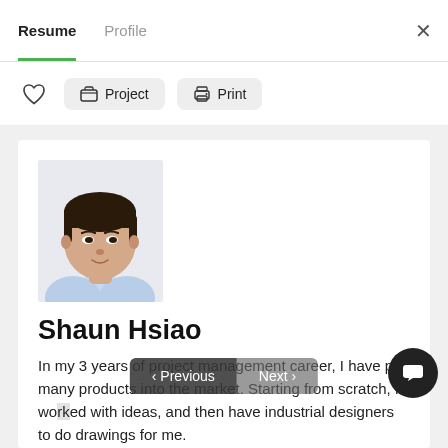Resume  Profile
♡  Project  Print
[Figure (photo): Headshot photo of Shaun Hsiao, a young Asian man wearing a light blue collared shirt, with dark hair, against a white background.]
Shaun Hsiao
In my 3 years of project management career, I have put many products into the market. Starting from scratch, I worked with ideas, and then have industrial designers to do drawings for me.